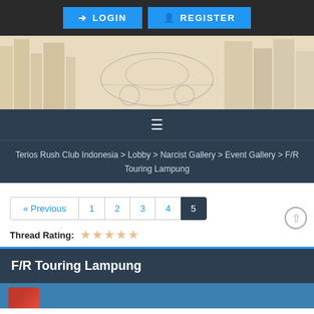LOGIN  REGISTER
[Figure (illustration): Website banner with city buildings silhouette and a car club logo in the center]
☰ (hamburger menu icon)
Terios Rush Club Indonesia > Lobby > Narcist Gallery > Event Gallery > F/R Touring Lampung
« Previous  1  2  3  4  5
Thread Rating:  ★★★★★
F/R Touring Lampung